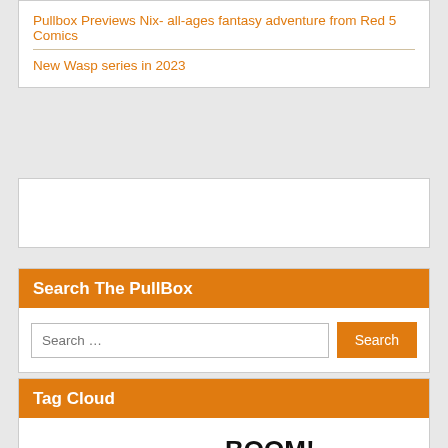Pullbox Previews Nix- all-ages fantasy adventure from Red 5 Comics
New Wasp series in 2023
Search The PullBox
Tag Cloud
Conventions DC Comics Kickstarter BOOM! Studios Toys Marvel Mature Content Uncategorized Dark Horse Valiant Titan Comics Family Friendly Valiant Aspen Comics BOOM! Studios comiXology Book News IDW Zenescope Boom Studios Games Pullbox Reviews Dark Horse Dynamite Entertainment Star Wars Image Comics Kindt Dynamite Action Lab Archie Comics IDW Movies Pullbox Previews TV Kickstarter Titan Comic News